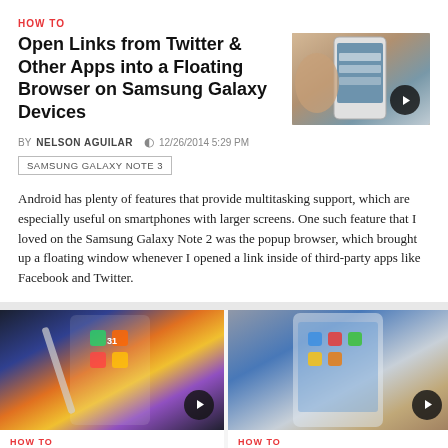HOW TO
Open Links from Twitter & Other Apps into a Floating Browser on Samsung Galaxy Devices
[Figure (photo): Hand holding a Samsung Galaxy smartphone showing app screen, with a play button overlay]
BY NELSON AGUILAR   12/26/2014 5:29 PM
SAMSUNG GALAXY NOTE 3
Android has plenty of features that provide multitasking support, which are especially useful on smartphones with larger screens. One such feature that I loved on the Samsung Galaxy Note 2 was the popup browser, which brought up a floating window whenever I opened a link inside of third-party apps like Facebook and Twitter.
[Figure (photo): Samsung Galaxy Note 3 showing home screen with apps, play button overlay]
HOW TO
Theme Your Galaxy Note 3's
[Figure (photo): Samsung Galaxy Note 4 showing screen, play button overlay]
HOW TO
Launch Note 4-Style Floating